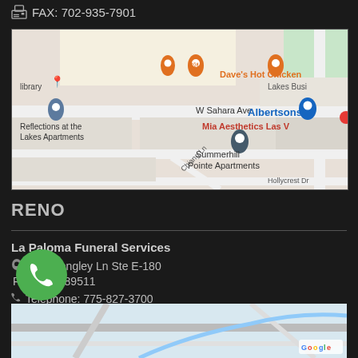FAX: 702-935-7901
[Figure (map): Google Maps screenshot showing the area around W Sahara Ave in Las Vegas, with pins for Dave's Hot Chicken, Reflections at the Lakes Apartments, Albertsons, Summerhill Pointe Apartments, Mia Aesthetics Las Vegas, and a library. Streets include Chiang Ln and Hollycrest Dr.]
RENO
La Paloma Funeral Services
5301 Longley Ln Ste E-180
Reno, NV 89511
Telephone: 775-827-3700
775-827-3708
[Figure (map): Partial Google Maps screenshot at the bottom of the page showing a street map for the Reno area.]